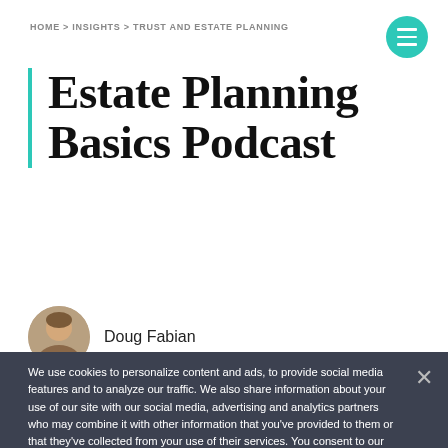HOME > INSIGHTS > TRUST AND ESTATE PLANNING
Estate Planning Basics Podcast
Doug Fabian
We use cookies to personalize content and ads, to provide social media features and to analyze our traffic. We also share information about your use of our site with our social media, advertising and analytics partners who may combine it with other information that you've provided to them or that they've collected from your use of their services. You consent to our cookies if you continue to use our website.
I AGREE
PRIVACY AND SECURITY CENTER